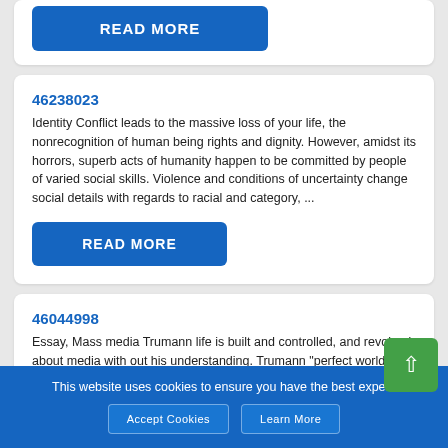[Figure (screenshot): Partial card showing a READ MORE button at top of page]
46238023
Identity Conflict leads to the massive loss of your life, the nonrecognition of human being rights and dignity. However, amidst its horrors, superb acts of humanity happen to be committed by people of varied social skills. Violence and conditions of uncertainty change social details with regards to racial and category, ...
46044998
Essay, Mass media Trumann life is built and controlled, and revolved about media with out his understanding. Trumann "perfect world" Can be described as direct metaphor for existence. Our lives happen to be warped by media's beliefs similarly how the protagonist undoubtedly lives in a life that is certainly being ...
This website uses cookies to ensure you have the best expe...